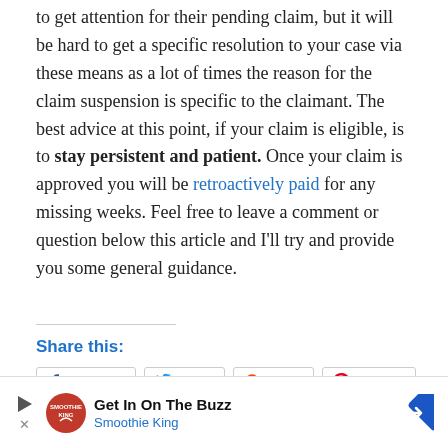to get attention for their pending claim, but it will be hard to get a specific resolution to your case via these means as a lot of times the reason for the claim suspension is specific to the claimant. The best advice at this point, if your claim is eligible, is to stay persistent and patient. Once your claim is approved you will be retroactively paid for any missing weeks. Feel free to leave a comment or question below this article and I'll try and provide you some general guidance.
Share this:
[Figure (other): Advertisement banner for Smoothie King with logo, play button, and arrow icon. Text reads 'Get In On The Buzz' and 'Smoothie King'.]